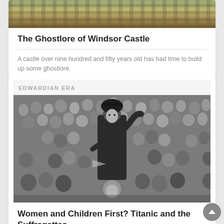[Figure (photo): Partial top view of Windsor Castle stone walls and battlements with green foliage]
The Ghostlore of Windsor Castle
A castle over nine hundred and fifty years old has had time to build up some ghostlore.
EDWARDIAN ERA
[Figure (photo): Black and white photograph of a woman standing in a crowd, likely a suffragette rally, raising her arm while surrounded by many people]
Women and Children First? Titanic and the Suffragettes
Votes for Women or boats for women? In 1912, the